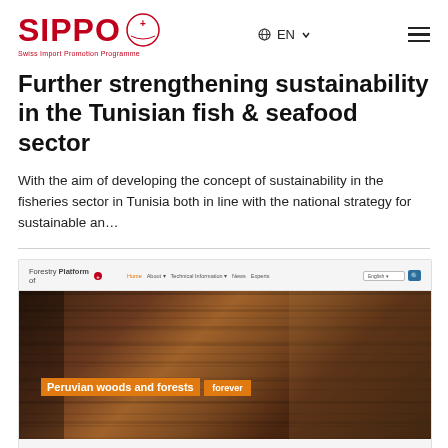SIPPO Swiss Import Promotion Programme | EN | menu
Further strengthening sustainability in the Tunisian fish & seafood sector
With the aim of developing the concept of sustainability in the fisheries sector in Tunisia both in line with the national strategy for sustainable an…
[Figure (screenshot): Screenshot of the Forestry Platform of SIPPO website showing stacked lumber/timber with an orange text overlay reading 'Peruvian woods and forests forever' and a caption 'We represent the wood sector and promote sustainable and legal timber from Peru.']